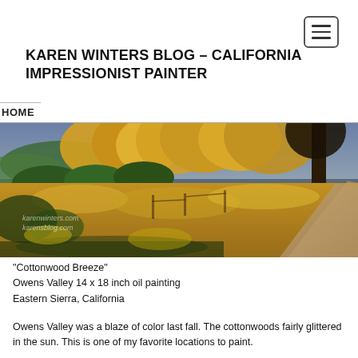☰ (hamburger menu button)
KAREN WINTERS BLOG – CALIFORNIA IMPRESSIONIST PAINTER
HOME
[Figure (illustration): Oil painting titled 'Cottonwood Breeze' showing autumnal landscape with golden cottonwood trees, dry grasses, and a dirt path in the Eastern Sierra, California. Watermarks read 'karenwinters.com' and 'karensblog.com'.]
"Cottonwood Breeze"
Owens Valley 14 x 18 inch oil painting
Eastern Sierra, California
Owens Valley was a blaze of color last fall. The cottonwoods fairly glittered in the sun. This is one of my favorite locations to paint.